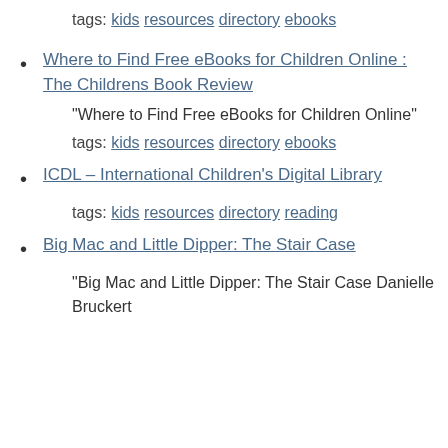tags: kids resources directory ebooks
Where to Find Free eBooks for Children Online : The Childrens Book Review
“Where to Find Free eBooks for Children Online”
tags: kids resources directory ebooks
ICDL – International Children’s Digital Library
tags: kids resources directory reading
Big Mac and Little Dipper: The Stair Case
“Big Mac and Little Dipper: The Stair Case Danielle Bruckert